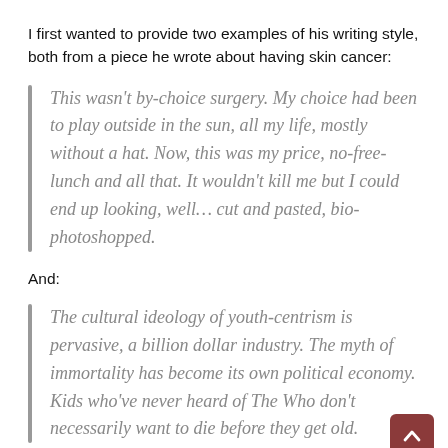I first wanted to provide two examples of his writing style, both from a piece he wrote about having skin cancer:
This wasn't by-choice surgery. My choice had been to play outside in the sun, all my life, mostly without a hat. Now, this was my price, no-free-lunch and all that. It wouldn't kill me but I could end up looking, well… cut and pasted, bio-photoshopped.
And:
The cultural ideology of youth-centrism is pervasive, a billion dollar industry. The myth of immortality has become its own political economy. Kids who've never heard of The Who don't necessarily want to die before they get old.